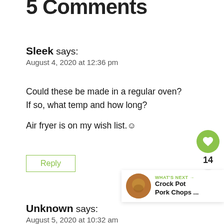Comments
Sleek says:
August 4, 2020 at 12:36 pm
Could these be made in a regular oven? If so, what temp and how long?

Air fryer is on my wish list.☺
Reply
Unknown says:
August 5, 2020 at 10:32 am
WHAT'S NEXT → Crock Pot Pork Chops ...